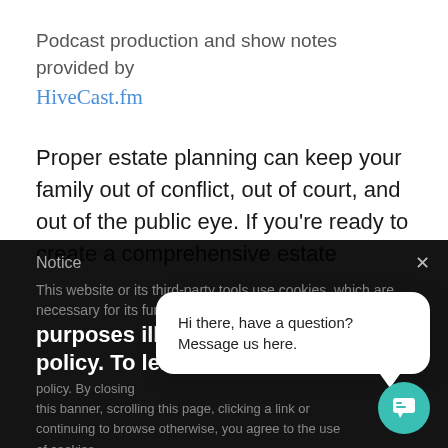Podcast production and show notes provided by HiveCast.fm
Proper estate planning can keep your family out of conflict, out of court, and out of the public eye. If you're ready to create a comprehensive estate...
Notice
This website or its third-party tools use cookies, which are necessary for its functioning and required to achieve the purposes illustrated in the cookie policy. To learn more or opt out, read the cookie policy. By closing this banner, scrolling this page, clicking a link or continuing to browse otherwise, you agree to the use of cookies.
Hi there, have a question? Message us here.